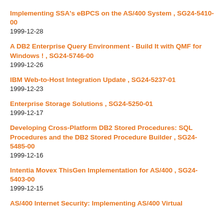Implementing SSA's eBPCS on the AS/400 System , SG24-5410-00
1999-12-28
A DB2 Enterprise Query Environment - Build It with QMF for Windows ! , SG24-5746-00
1999-12-26
IBM Web-to-Host Integration Update , SG24-5237-01
1999-12-23
Enterprise Storage Solutions , SG24-5250-01
1999-12-17
Developing Cross-Platform DB2 Stored Procedures: SQL Procedures and the DB2 Stored Procedure Builder , SG24-5485-00
1999-12-16
Intentia Movex ThisGen Implementation for AS/400 , SG24-5403-00
1999-12-15
AS/400 Internet Security: Implementing AS/400 Virtual